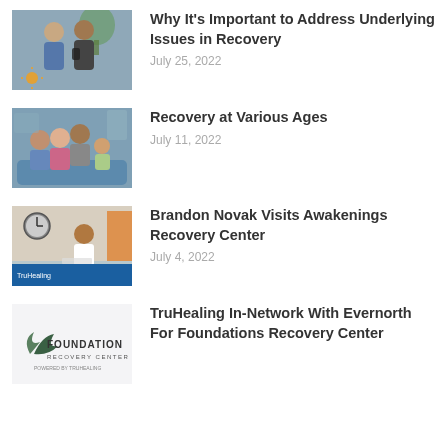[Figure (photo): Two men sitting on a couch, one showing a phone to the other, with a plant in the background and a small sun logo overlay]
Why It's Important to Address Underlying Issues in Recovery
July 25, 2022
[Figure (photo): Family of four smiling together on a couch — two adults and two children]
Recovery at Various Ages
July 11, 2022
[Figure (photo): Person in white t-shirt at a TruHealing branded table with a clock on the wall in background]
Brandon Novak Visits Awakenings Recovery Center
July 4, 2022
[Figure (logo): Foundation Recovery Center logo — Powered by TruHealing]
TruHealing In-Network With Evernorth For Foundations Recovery Center